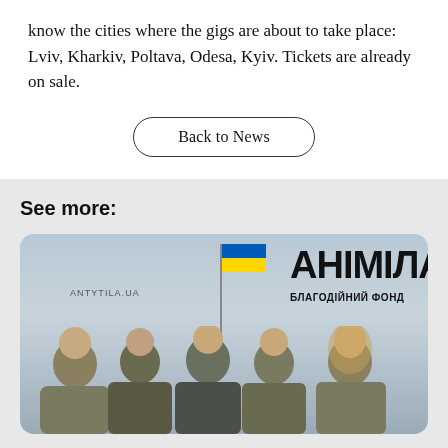know the cities where the gigs are about to take place: Lviv, Kharkiv, Poltava, Odesa, Kyiv. Tickets are already on sale.
Back to News
See more:
[Figure (photo): Photo of five men in military uniforms standing together outdoors with a Ukrainian flag on a pole behind them. The card shows the ANTYTILA.UA label, a Ukrainian flag (blue and yellow), and the Cyrillic logo text АНІМІЛА / БЛАГОДІЙНИЙ ФОНД.]